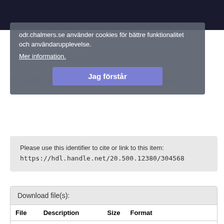board computers
Examensarbete för masterexamen
odr.chalmers.se använder cookies för bättre funktionalitet och användarupplevelse.
Mer information.
Jag förstår
Please use this identifier to cite or link to this item:
https://hdl.handle.net/20.500.12380/304568
Download file(s):
| File | Description | Size | Format |  |
| --- | --- | --- | --- | --- |
| CSE 21-163 Dirnberger.pdf | Prototyping a network traffic tester using a distributed system of single board computers | 3.92 MB | Adobe PDF | View/Open |